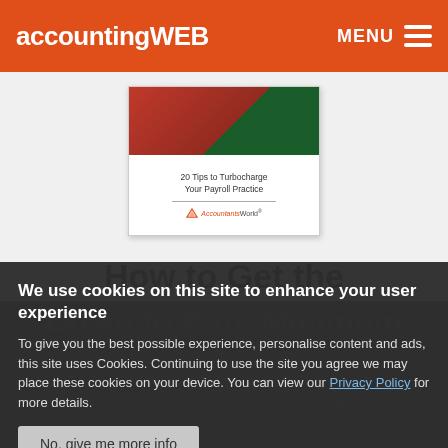accountingWEB   MENU
[Figure (photo): Book cover: '20 Tips to Turbocharge Your Payroll Practice' brought to you by AccountantsWorld, with red and green cover design.]
How to Get the Labor Cost of Payroll Down to Bare Minimum
We use cookies on this site to enhance your user experience
To give you the best possible experience, personalise content and ads, this site uses Cookies. Continuing to use the site you agree we may place these cookies on your device. You can view our Privacy Policy for more details.
No, give me more info
OK, I agree